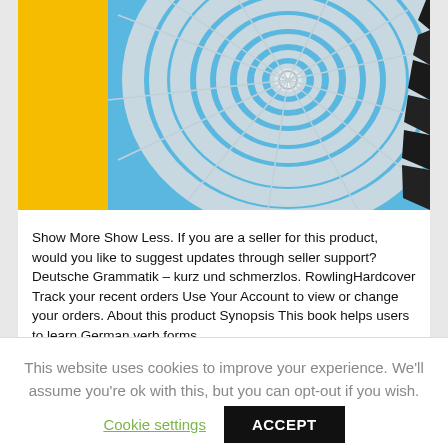[Figure (photo): Book cover showing a yellow panel on the left and a blue spiral staircase viewed from below on the right]
Show More Show Less. If you are a seller for this product, would you like to suggest updates through seller support? Deutsche Grammatik – kurz und schmerzlos. RowlingHardcover Track your recent orders Use Your Account to view or change your orders. About this product Synopsis This book helps users to learn German verb forms
This website uses cookies to improve your experience. We'll assume you're ok with this, but you can opt-out if you wish.
Cookie settings
ACCEPT